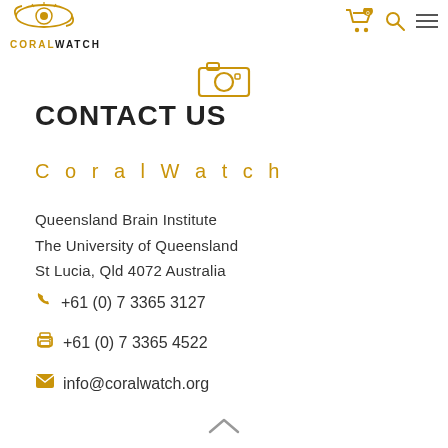[Figure (logo): CoralWatch logo with eye/fish icon and text CORALWATCH in gold/black]
[Figure (other): Navigation icons: shopping cart with badge 0, search icon, hamburger menu]
[Figure (other): Camera icon in gold]
CONTACT US
CoralWatch
Queensland Brain Institute
The University of Queensland
St Lucia, Qld 4072 Australia
+61 (0) 7 3365 3127
+61 (0) 7 3365 4522
info@coralwatch.org
[Figure (other): Scroll-up arrow chevron at bottom center]